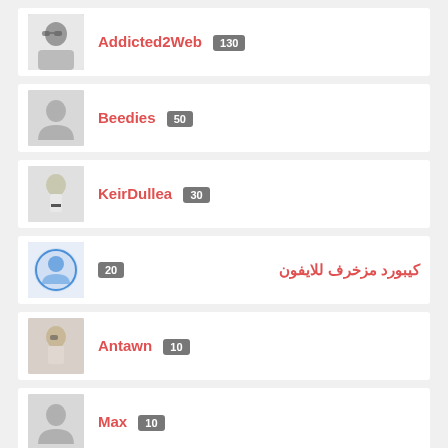Addicted2Web 130
Beedies 50
KeirDullea 30
كيبورد مزخرف للايفون 20
Antawn 10
Max 10